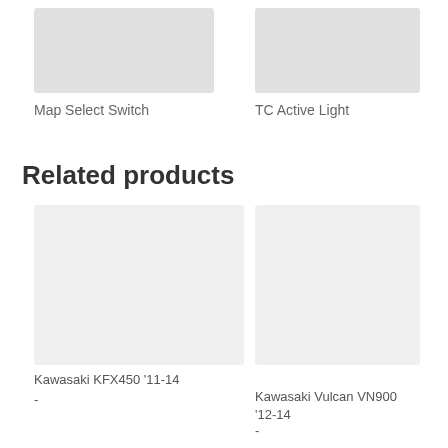[Figure (photo): Product image placeholder left top]
[Figure (photo): Product image placeholder right top]
Map Select Switch
TC Active Light
Related products
[Figure (photo): Kawasaki KFX450 product image]
[Figure (photo): Kawasaki Vulcan VN900 product image]
Kawasaki KFX450 '11-14
-
Kawasaki Vulcan VN900 '12-14
-